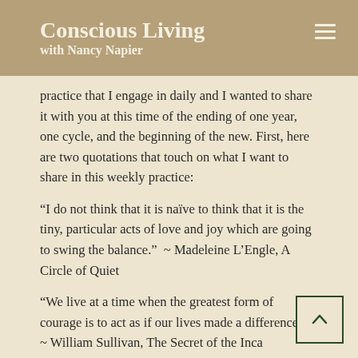Conscious Living
with Nancy Napier
practice that I engage in daily and I wanted to share it with you at this time of the ending of one year, one cycle, and the beginning of the new. First, here are two quotations that touch on what I want to share in this weekly practice:
“I do not think that it is naïve to think that it is the tiny, particular acts of love and joy which are going to swing the balance.”  ~ Madeleine L’Engle, A Circle of Quiet
“We live at a time when the greatest form of courage is to act as if our lives made a difference.”
~ William Sullivan, The Secret of the Inca